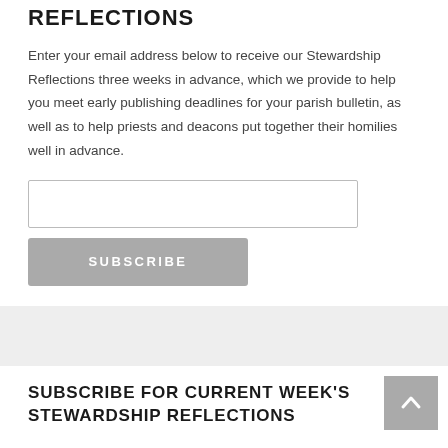REFLECTIONS
Enter your email address below to receive our Stewardship Reflections three weeks in advance, which we provide to help you meet early publishing deadlines for your parish bulletin, as well as to help priests and deacons put together their homilies well in advance.
SUBSCRIBE FOR CURRENT WEEK'S STEWARDSHIP REFLECTIONS